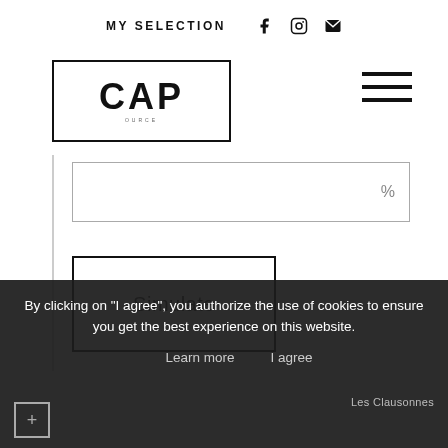MY SELECTION
[Figure (logo): CAP logo in a rectangular border]
[Figure (other): Hamburger menu icon (three horizontal lines)]
%
Simulate
By clicking on "I agree", you authorize the use of cookies to ensure you get the best experience on this website.
Learn more
I agree
Les Clausonnes